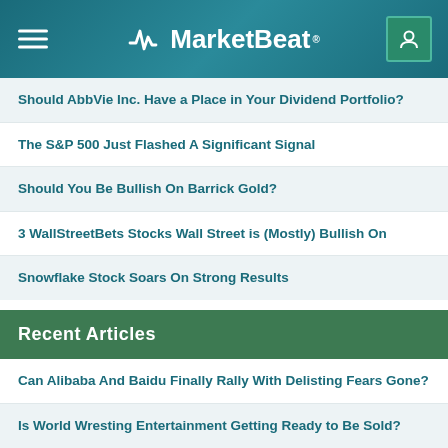MarketBeat
Should AbbVie Inc. Have a Place in Your Dividend Portfolio?
The S&P 500 Just Flashed A Significant Signal
Should You Be Bullish On Barrick Gold?
3 WallStreetBets Stocks Wall Street is (Mostly) Bullish On
Snowflake Stock Soars On Strong Results
Recent Articles
Can Alibaba And Baidu Finally Rally With Delisting Fears Gone?
Is World Wresting Entertainment Getting Ready to Be Sold?
3 Materials Stocks That May Earn a Place on Your Watchlist
Crowdstrike Stock Retraces, As Earnings Sober Expectations
Will The Institutions Buy The Dip In Ambarella Stock?
PVH Corporation Is On Track For Capital Returns